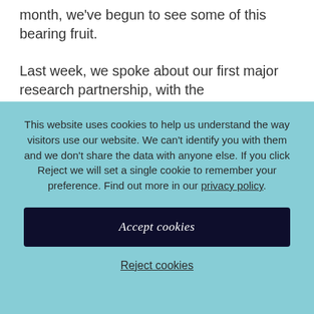month, we've begun to see some of this bearing fruit.
Last week, we spoke about our first major research partnership, with the Strengthening Families, Protecting Children programme, an £84 million
This website uses cookies to help us understand the way visitors use our website. We can't identify you with them and we don't share the data with anyone else. If you click Reject we will set a single cookie to remember your preference. Find out more in our privacy policy.
Accept cookies
Reject cookies